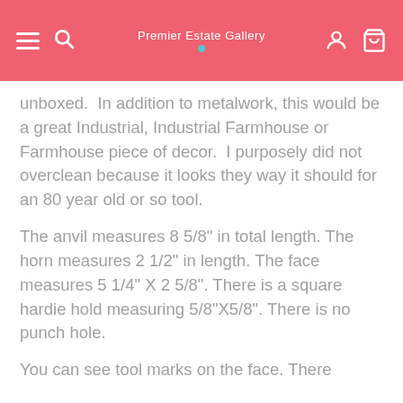Premier Estate Gallery
unboxed.  In addition to metalwork, this would be a great Industrial, Industrial Farmhouse or Farmhouse piece of decor.  I purposely did not overclean because it looks they way it should for an 80 year old or so tool.
The anvil measures 8 5/8" in total length. The horn measures 2 1/2" in length. The face measures 5 1/4" X 2 5/8". There is a square hardie hold measuring 5/8"X5/8". There is no punch hole.
You can see tool marks on the face. There